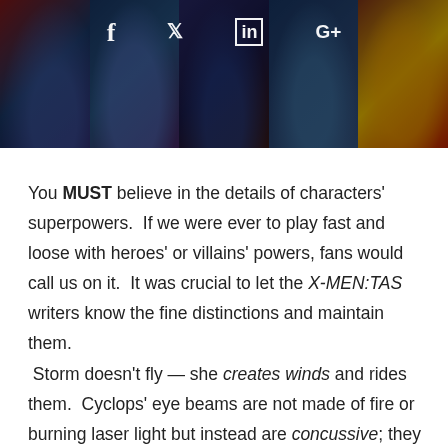[Figure (illustration): Banner with comic book superhero collage panels (X-Men characters) with dark overlay, and social media sharing icons (Facebook, Twitter, LinkedIn, Google+) displayed over the top center.]
You MUST believe in the details of characters' superpowers.  If we were ever to play fast and loose with heroes' or villains' powers, fans would call us on it.  It was crucial to let the X-MEN:TAS writers know the fine distinctions and maintain them.  Storm doesn't fly — she creates winds and rides them.  Cyclops' eye beams are not made of fire or burning laser light but instead are concussive; they don't burn things (sorry current movie), they slams things.  Wolverine isn't immortal, he just heals quickly (the movies tend to cheat this a bit as well)